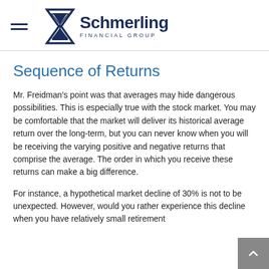Schmerling Financial Group
Sequence of Returns
Mr. Freidman’s point was that averages may hide dangerous possibilities. This is especially true with the stock market. You may be comfortable that the market will deliver its historical average return over the long-term, but you can never know when you will be receiving the varying positive and negative returns that comprise the average. The order in which you receive these returns can make a big difference.
For instance, a hypothetical market decline of 30% is not to be unexpected. However, would you rather experience this decline when you have relatively small retirement